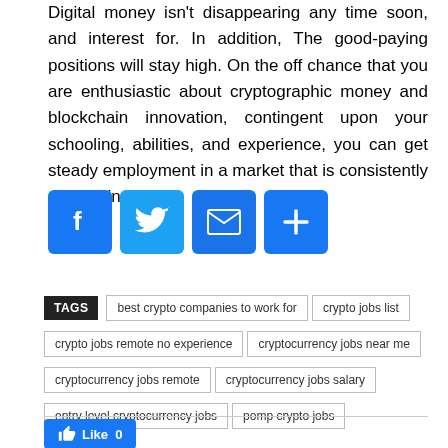Digital money isn't disappearing any time soon, and interest for. In addition, The good-paying positions will stay high. On the off chance that you are enthusiastic about cryptographic money and blockchain innovation, contingent upon your schooling, abilities, and experience, you can get steady employment in a market that is consistently developing.
[Figure (other): Four social share buttons: Facebook (blue), Twitter (light blue), Email (blue envelope), Share/Add (blue plus sign)]
TAGS
best crypto companies to work for
crypto jobs list
crypto jobs remote no experience
cryptocurrency jobs near me
cryptocurrency jobs remote
cryptocurrency jobs salary
entry level cryptocurrency jobs
pomp crypto jobs
[Figure (other): Like button (blue, thumbs up icon, count 0) and four social share buttons at bottom: Facebook (dark blue f), Twitter (light blue bird), Pinterest (red P), WhatsApp (green phone)]